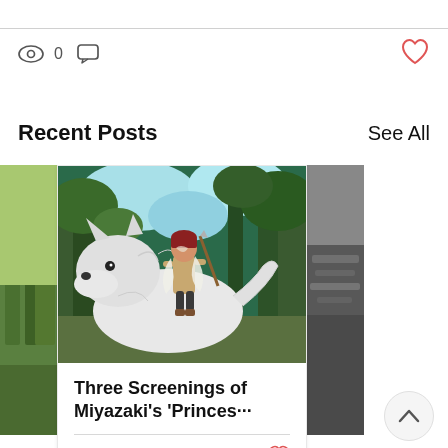[Figure (screenshot): View count icon with 0 and comment bubble icon, plus red heart icon on right]
Recent Posts
See All
[Figure (photo): Left partial card showing green nature/grass scene]
[Figure (illustration): Center post card: anime illustration from Princess Mononoke showing a girl riding a large white wolf in a forest]
Three Screenings of Miyazaki's 'Princes···
[Figure (screenshot): View count 0, comment count 0, heart icon in bottom of center card]
[Figure (photo): Right partial card showing dark rocky/stone scene]
[Figure (other): Circular scroll-up button with chevron/up arrow]